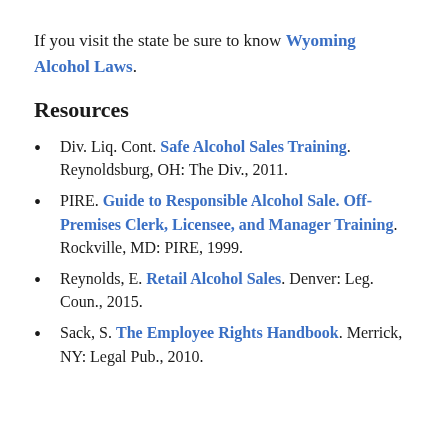If you visit the state be sure to know Wyoming Alcohol Laws.
Resources
Div. Liq. Cont. Safe Alcohol Sales Training. Reynoldsburg, OH: The Div., 2011.
PIRE. Guide to Responsible Alcohol Sale. Off-Premises Clerk, Licensee, and Manager Training. Rockville, MD: PIRE, 1999.
Reynolds, E. Retail Alcohol Sales. Denver: Leg. Coun., 2015.
Sack, S. The Employee Rights Handbook. Merrick, NY: Legal Pub., 2010.